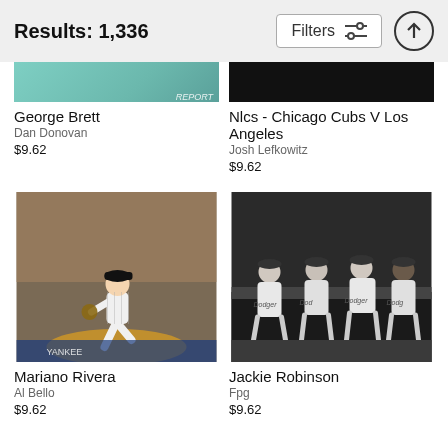Results: 1,336
George Brett
Dan Donovan
$9.62
Nlcs - Chicago Cubs V Los Angeles
Josh Lefkowitz
$9.62
[Figure (photo): Baseball pitcher (Mariano Rivera) in wind-up on the mound, wearing pinstripe Yankees uniform, crowd in background]
Mariano Rivera
Al Bello
$9.62
[Figure (photo): Black and white photo of Jackie Robinson and Dodgers teammates sitting in dugout wearing Dodgers uniforms]
Jackie Robinson
Fpg
$9.62